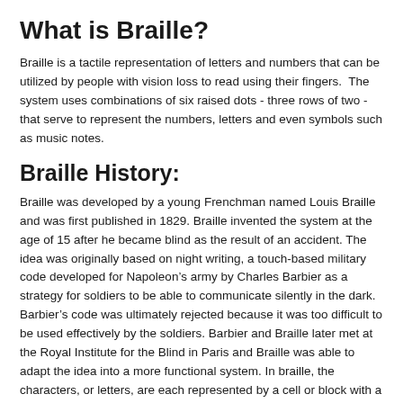What is Braille?
Braille is a tactile representation of letters and numbers that can be utilized by people with vision loss to read using their fingers.  The system uses combinations of six raised dots - three rows of two - that serve to represent the numbers, letters and even symbols such as music notes.
Braille History:
Braille was developed by a young Frenchman named Louis Braille and was first published in 1829. Braille invented the system at the age of 15 after he became blind as the result of an accident. The idea was originally based on night writing, a touch-based military code developed for Napoleon’s army by Charles Barbier as a strategy for soldiers to be able to communicate silently in the dark. Barbier’s code was ultimately rejected because it was too difficult to be used effectively by the soldiers. Barbier and Braille later met at the Royal Institute for the Blind in Paris and Braille was able to adapt the idea into a more functional system. In braille, the characters, or letters, are each represented by a cell or block with a particular arrangement of raised dots.